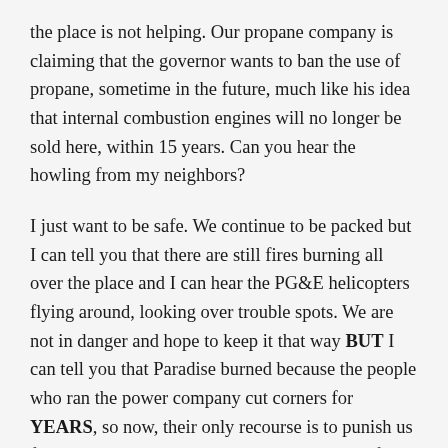the place is not helping. Our propane company is claiming that the governor wants to ban the use of propane, sometime in the future, much like his idea that internal combustion engines will no longer be sold here, within 15 years. Can you hear the howling from my neighbors?
I just want to be safe. We continue to be packed but I can tell you that there are still fires burning all over the place and I can hear the PG&E helicopters flying around, looking over trouble spots. We are not in danger and hope to keep it that way BUT I can tell you that Paradise burned because the people who ran the power company cut corners for YEARS, so now, their only recourse is to punish us further with shut-downs to protect themselves from killing any more people.